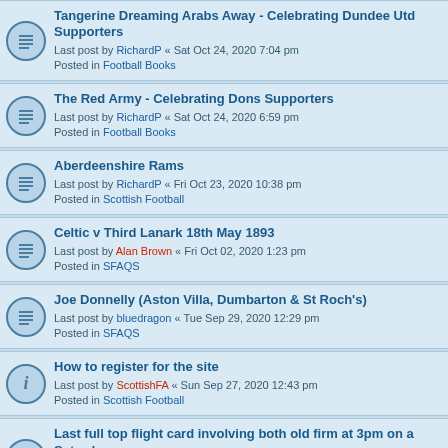Tangerine Dreaming Arabs Away - Celebrating Dundee Utd Supporters
Last post by RichardP « Sat Oct 24, 2020 7:04 pm
Posted in Football Books
The Red Army - Celebrating Dons Supporters
Last post by RichardP « Sat Oct 24, 2020 6:59 pm
Posted in Football Books
Aberdeenshire Rams
Last post by RichardP « Fri Oct 23, 2020 10:38 pm
Posted in Scottish Football
Celtic v Third Lanark 18th May 1893
Last post by Alan Brown « Fri Oct 02, 2020 1:23 pm
Posted in SFAQS
Joe Donnelly (Aston Villa, Dumbarton & St Roch's)
Last post by bluedragon « Tue Sep 29, 2020 12:29 pm
Posted in SFAQS
How to register for the site
Last post by ScottishFA « Sun Sep 27, 2020 12:43 pm
Posted in Scottish Football
Last full top flight card involving both old firm at 3pm on a Saturday.
Last post by football2011 « Fri Sep 11, 2020 11:21 pm
Posted in SFAQS
Eddie MacLaine (Albion Rovers/Hamilton Academical)
Last post by bluedragon « Fri Aug 21, 2020 9:48 am
Posted in SFAQS